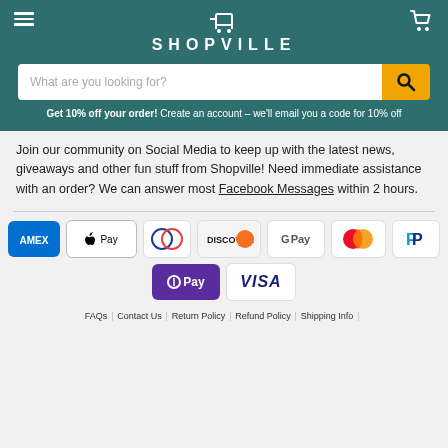SHOPVILLE
What are you looking for?
Get 10% off your order! Create an account – we'll email you a code for 10% off
Join our community on Social Media to keep up with the latest news, giveaways and other fun stuff from Shopville! Need immediate assistance with an order? We can answer most Facebook Messages within 2 hours.
[Figure (other): Payment method icons: American Express, Apple Pay, Diners Club, Discover, Google Pay, Mastercard, PayPal, Samsung Pay (O Pay), Visa]
FAQs | Contact Us | Return Policy | Refund Policy | Shipping Info |